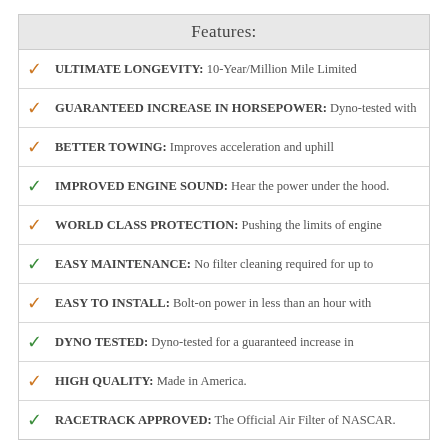Features:
ULTIMATE LONGEVITY: 10-Year/Million Mile Limited
GUARANTEED INCREASE IN HORSEPOWER: Dyno-tested with
BETTER TOWING: Improves acceleration and uphill
IMPROVED ENGINE SOUND: Hear the power under the hood.
WORLD CLASS PROTECTION: Pushing the limits of engine
EASY MAINTENANCE: No filter cleaning required for up to
EASY TO INSTALL: Bolt-on power in less than an hour with
DYNO TESTED: Dyno-tested for a guaranteed increase in
HIGH QUALITY: Made in America.
RACETRACK APPROVED: The Official Air Filter of NASCAR.
2. K&N COLD AIR INTAKE KIT: HIGH PERFORMANCE